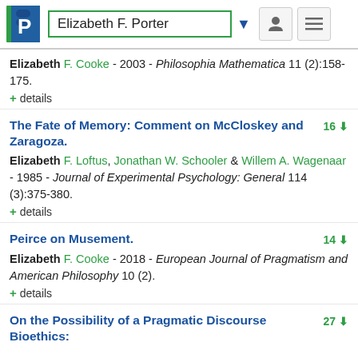Elizabeth F. Porter
Elizabeth F. Cooke - 2003 - Philosophia Mathematica 11 (2):158-175.
+ details
The Fate of Memory: Comment on McCloskey and Zaragoza.
Elizabeth F. Loftus, Jonathan W. Schooler & Willem A. Wagenaar - 1985 - Journal of Experimental Psychology: General 114 (3):375-380.
+ details
Peirce on Musement.
Elizabeth F. Cooke - 2018 - European Journal of Pragmatism and American Philosophy 10 (2).
+ details
On the Possibility of a Pragmatic Discourse Bioethics: